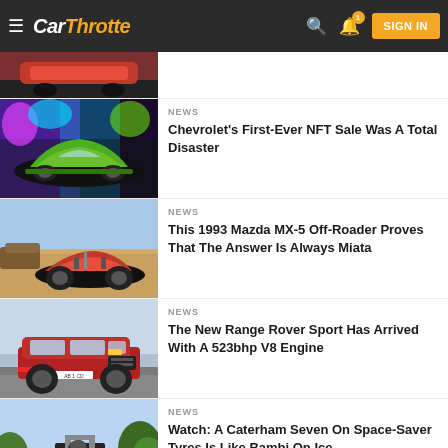CarThrottle — SIGN IN
[Figure (photo): Partial view of a red sports car]
NEWS
Chevrolet's First-Ever NFT Sale Was A Total Disaster
[Figure (photo): Green Chevrolet Corvette Z06 in front of colorful graffiti wall]
NEWS
This 1993 Mazda MX-5 Off-Roader Proves That The Answer Is Always Miata
[Figure (photo): Red 1993 Mazda MX-5 modified as an off-roader in a desert setting]
NEWS
The New Range Rover Sport Has Arrived With A 523bhp V8 Engine
[Figure (photo): Red Range Rover Sport on a road]
NEWS
Watch: A Caterham Seven On Space-Saver Tyres Is Like Bambi On Ice
[Figure (photo): Caterham Seven open-wheel car on a road with trees in background]